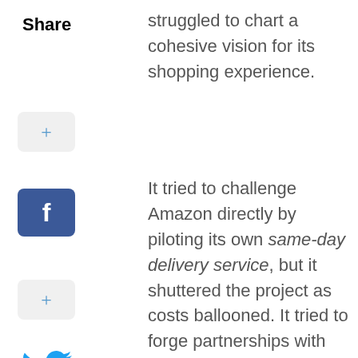Share
struggled to chart a cohesive vision for its shopping experience.
[Figure (infographic): Share buttons: plus/add button (light gray rounded), Facebook button (blue with f icon), plus/add button (light gray rounded), Twitter bird icon (blue)]
It tried to challenge Amazon directly by piloting its own same-day delivery service, but it shuttered the project as costs ballooned. It tried to forge partnerships with traditional retail giants, only to see the
[Figure (infographic): Article carousel widget with purple left/right navigation arrows, a gray placeholder image, and article title 'Ukrainians Are Paying to Paint Personal Messages on Artillery Shells'. X close button visible.]
Ukrainians Are Paying to Paint Personal Messages on Artillery Shells
[Figure (infographic): Pagination dots: first dot is active (elongated black), followed by 11 gray circular dots. Scroll-up arrow button on the right.]